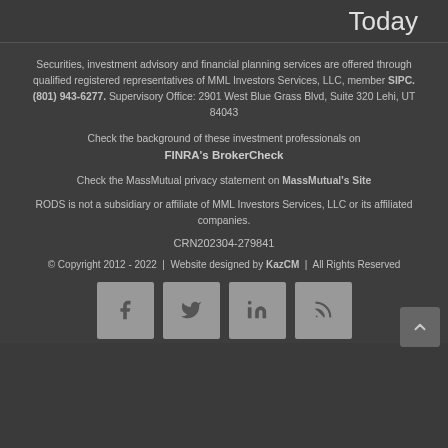Today
Securities, investment advisory and financial planning services are offered through qualified registered representatives of MML Investors Services, LLC, member SIPC. (801) 943-6277. Supervisory Office: 2901 West Blue Grass Blvd, Suite 320 Lehi, UT 84043
Check the background of these investment professionals on FINRA's BrokerCheck
Check the MassMutual privacy statement on MassMutual's Site
RODS is not a subsidiary or affiliate of MML Investors Services, LLC or its affiliated companies.
CRN202304-279841
© Copyright 2012 - 2022  |  Website designed by KazCM  |  All Rights Reserved
[Figure (other): Social media icon buttons: Facebook, Twitter, LinkedIn, RSS feed]